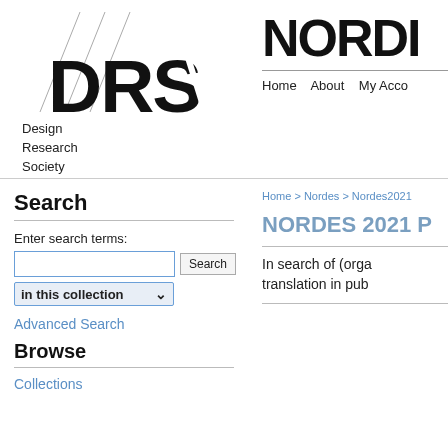[Figure (logo): DRS (Design Research Society) logo with diagonal lines and bold DRS lettering, with text 'Design Research Society' to the left]
[Figure (logo): NORDES logo in large bold black text, partially cropped on right]
Home   About   My Acco
Home > Nordes > Nordes2021
Search
Enter search terms:
in this collection
Advanced Search
Browse
Collections
NORDES 2021 P
In search of (orga translation in pub